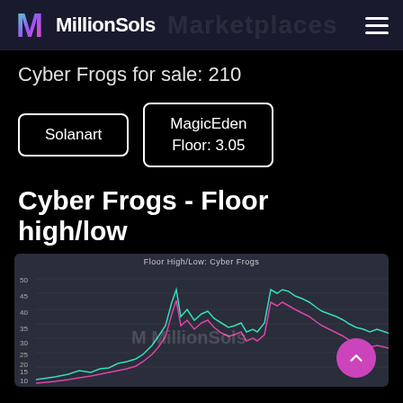MillionSols
Cyber Frogs for sale: 210
Solanart
MagicEden
Floor: 3.05
Cyber Frogs - Floor high/low
[Figure (continuous-plot): Floor High/Low line chart for Cyber Frogs showing two lines (cyan and magenta) representing high and low floor prices over time. Y-axis ranges from approximately 10 to 50. The chart shows prices rising from low levels (~10-15) to peaks around 45-50, then declining to around 20-25.]